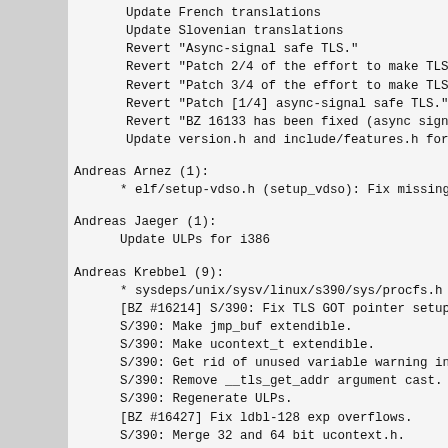Update French translations
Update Slovenian translations
Revert "Async-signal safe TLS."
Revert "Patch 2/4 of the effort to make TLS ac
Revert "Patch 3/4 of the effort to make TLS ac
Revert "Patch [1/4] async-signal safe TLS."
Revert "BZ 16133 has been fixed (async signal
Update version.h and include/features.h for 2.
Andreas Arnez (1):
* elf/setup-vdso.h (setup_vdso): Fix missing s
Andreas Jaeger (1):
Update ULPs for i386
Andreas Krebbel (9):
* sysdeps/unix/sysv/linux/s390/sys/procfs.h (s
[BZ #16214] S/390: Fix TLS GOT pointer setup.
S/390: Make jmp_buf extendible.
S/390: Make ucontext_t extendible.
S/390: Get rid of unused variable warning in d
S/390: Remove __tls_get_addr argument cast.
S/390: Regenerate ULPs.
[BZ #16427] Fix ldbl-128 exp overflows.
S/390: Merge 32 and 64 bit ucontext.h.
Andreas Schwab (28):
Fix cbrtl for ldbl-96
Fix dependencies for stdlib/tst-tls-atexit
Fix handling LC_CTYPE nonascii-case fallback i